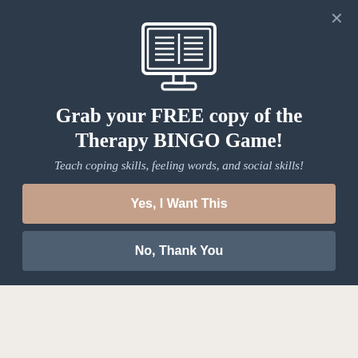[Figure (illustration): White icon of an open book/e-reader on a monitor/computer stand on dark blue background]
Grab your FREE copy of the Therapy BINGO Game!
Teach coping skills, feeling words, and social skills!
Yes, I Want This
No, Thank You
⚡ by Convertful
» Home
Advertisements
Professionally designed sites in less than a week